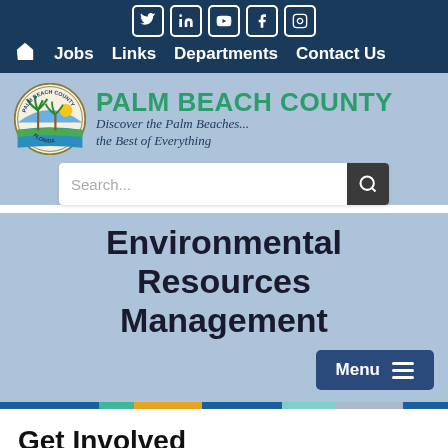Twitter LinkedIn YouTube Facebook Instagram | Home Jobs Links Departments Contact Us
[Figure (logo): Palm Beach County seal and logo with tagline: Discover the Palm Beaches... the Best of Everything]
Search...
Environmental Resources Management
Menu
Get Involved